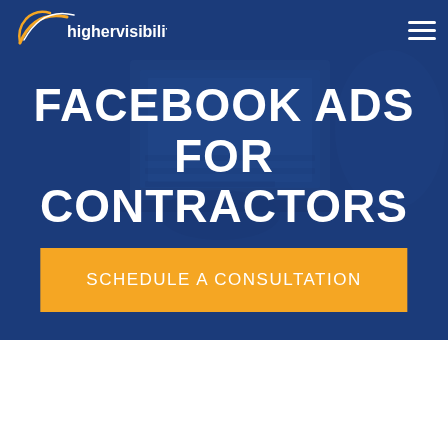[Figure (screenshot): HigherVisibility website hero section showing a dark blue overlay with a person typing on a laptop in the background.]
highervisibility
FACEBOOK ADS FOR CONTRACTORS
SCHEDULE A CONSULTATION